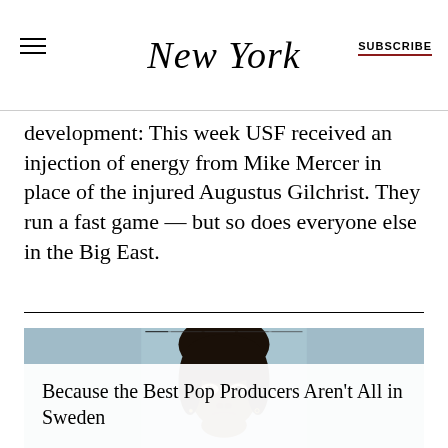NEW YORK  |  SUBSCRIBE
development: This week USF received an injection of energy from Mike Mercer in place of the injured Augustus Gilchrist. They run a fast game — but so does everyone else in the Big East.
[Figure (photo): Close-up portrait of a young Black man with dreadlocks and an earring, against a light blue background. A white caption box overlays the lower portion of the image.]
Because the Best Pop Producers Aren't All in Sweden